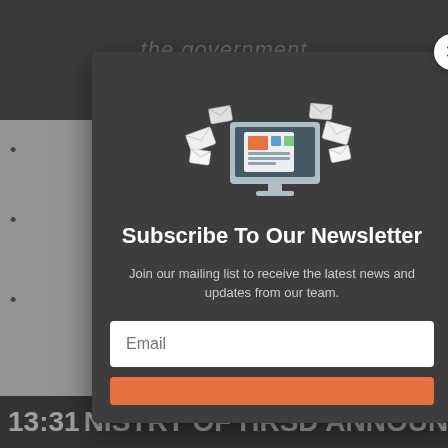the government
y
ave
ave o
[Figure (screenshot): Newsletter subscription modal popup over a government webpage. The modal has a dark gray background with an illustration of a computer monitor displaying a newspaper with email envelopes flying around it. It contains a 'Subscribe To Our Newsletter' heading, descriptive text, an email input field, and an orange subscribe button. A white circular X close button is in the top-right corner.]
13:31 NISTRY OF HRSD ANNOUNC